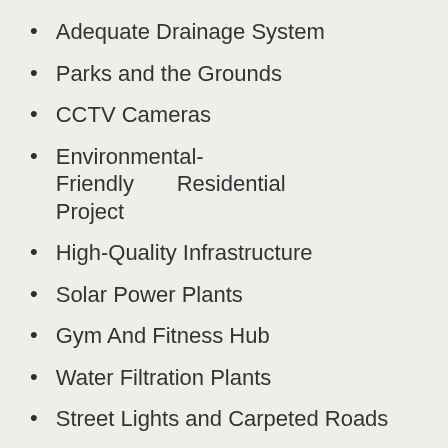Adequate Drainage System
Parks and the Grounds
CCTV Cameras
Environmental-Friendly Residential Project
High-Quality Infrastructure
Solar Power Plants
Gym And Fitness Hub
Water Filtration Plants
Street Lights and Carpeted Roads
Amenities
The facilities available here are numerous